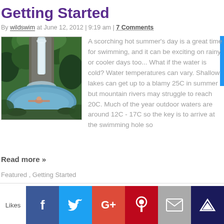Getting Started
By wildswim at June 12, 2012 | 9:19 am | 7 Comments
[Figure (photo): A waterfall in a lush green tropical setting with a person swimming at the base]
A scorching hot summer's day is a great time for swimming, and it can be exciting on rainy or cooler days too... What if the water is cold? Water temperatures can vary. Shallow lakes can get up to a blamy 25C in summer but mountain rivers may struggle to reach 20C. Much of the year outdoor waters are around 12C - 17C so the key is to arrive at the swimming hole so
Read more »
Featured , Getting Started